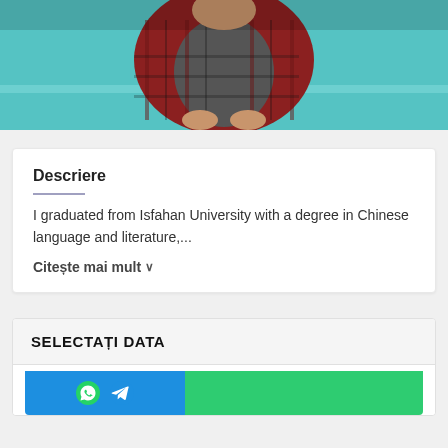[Figure (photo): Person sitting near a fountain or pool, wearing a red plaid flannel shirt over a grey sweater, teal water background visible]
Descriere
I graduated from Isfahan University with a degree in Chinese language and literature,...
Citește mai mult ∨
SELECTAȚI DATA
06/09/2022